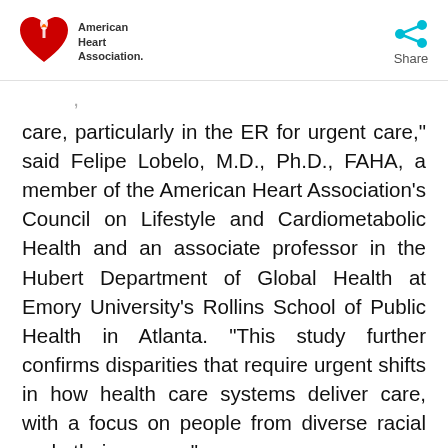American Heart Association. Share
care, particularly in the ER for urgent care,” said Felipe Lobelo, M.D., Ph.D., FAHA, a member of the American Heart Association’s Council on Lifestyle and Cardiometabolic Health and an associate professor in the Hubert Department of Global Health at Emory University’s Rollins School of Public Health in Atlanta. “This study further confirms disparities that require urgent shifts in how health care systems deliver care, with a focus on people from diverse racial and ethnic groups.”